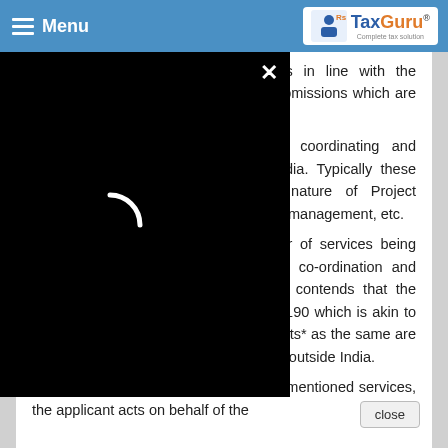Menu | TaxGuru - Complete tax solution
and made his submissions which is in line with the application filed. He has also made submissions which are as under.
11.1. The applicant is engaged in coordinating and monitoring clinical trial services in India. Typically these services involves activities in the nature of Project Management, regulatory affairs, project [management], etc.
[11.2. ...] character of services being [provided are in the natu]re of co-ordination and [monitoring... The a]pplicant contends that the [services can be cla]ssified under CPC 83190 which is akin to HSN 998319 and shall qualify as "exports* as the same are provided by the applicant to its affiliates outside India.
11.3 During the provision of the above mentioned services, the applicant acts on behalf of the